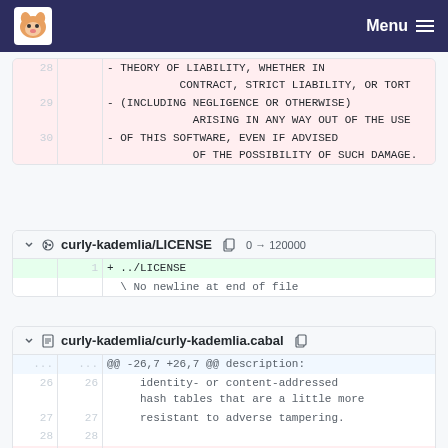Menu
| line_old | line_new | code |
| --- | --- | --- |
| 28 |  | - THEORY OF LIABILITY, WHETHER IN
           CONTRACT, STRICT LIABILITY, OR TORT |
| 29 |  | - (INCLUDING NEGLIGENCE OR OTHERWISE)
             ARISING IN ANY WAY OUT OF THE USE |
| 30 |  | - OF THIS SOFTWARE, EVEN IF ADVISED
             OF THE POSSIBILITY OF SUCH DAMAGE. |
curly-kademlia/LICENSE  0 → 120000
| line_old | line_new | code |
| --- | --- | --- |
|  | 1 | + ../LICENSE |
|  |  | \ No newline at end of file |
curly-kademlia/curly-kademlia.cabal
| line_old | line_new | code |
| --- | --- | --- |
| ... | ... | @@ -26,7 +26,7 @@ description: |
| 26 | 26 |     identity- or content-addressed
    hash tables that are a little more |
| 27 | 27 |     resistant to adverse tampering. |
| 28 | 28 |  |
| 29 |  | - license:            BSD3 |